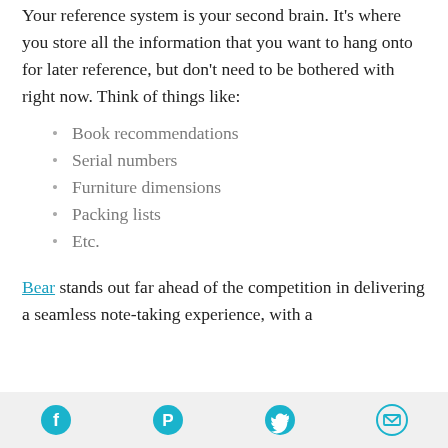Your reference system is your second brain. It's where you store all the information that you want to hang onto for later reference, but don't need to be bothered with right now. Think of things like:
Book recommendations
Serial numbers
Furniture dimensions
Packing lists
Etc.
Bear stands out far ahead of the competition in delivering a seamless note-taking experience, with a
Facebook | Pinterest | Twitter | Email